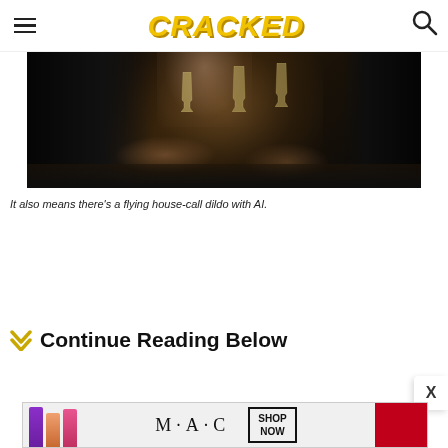CRACKED
[Figure (photo): Scene of two people clinking crystal glasses at a dark dinner table, close-up on hands and glasses]
It also means there’s a flying house-call dildo with AI.
Continue Reading Below
[Figure (photo): MAC cosmetics advertisement banner showing lipsticks and SHOP NOW text]